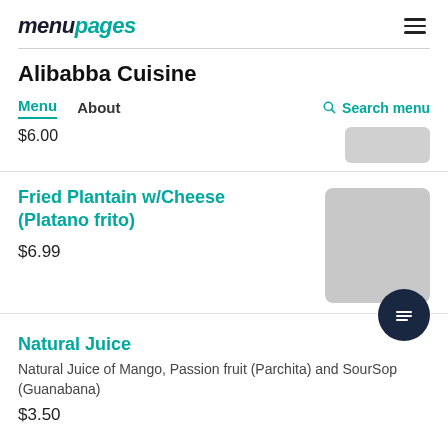menupages
Alibabba Cuisine
Menu   About   Search menu
$6.00
Fried Plantain w/Cheese (Platano frito)
$6.99
Natural Juice
Natural Juice of Mango, Passion fruit (Parchita) and SourSop (Guanabana)
$3.50